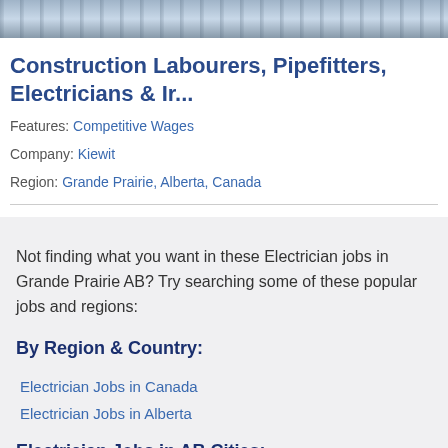[Figure (photo): Industrial/construction site banner image]
Construction Labourers, Pipefitters, Electricians & Ir...
Features: Competitive Wages
Company: Kiewit
Region: Grande Prairie, Alberta, Canada
Not finding what you want in these Electrician jobs in Grande Prairie AB? Try searching some of these popular jobs and regions:
By Region & Country:
Electrician Jobs in Canada
Electrician Jobs in Alberta
Electrician Jobs in AB Cities: